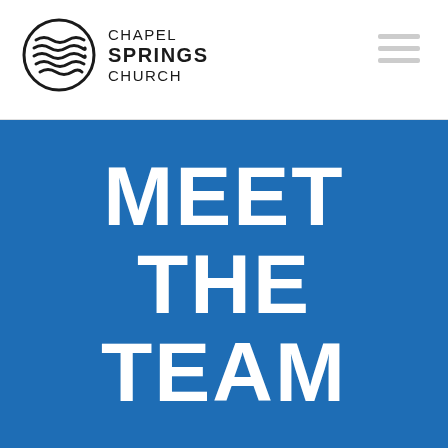[Figure (logo): Chapel Springs Church logo — circular emblem with horizontal wave lines on the left, and text 'CHAPEL SPRINGS CHURCH' on the right]
[Figure (other): Hamburger menu icon — three horizontal gray bars stacked vertically]
MEET THE TEAM